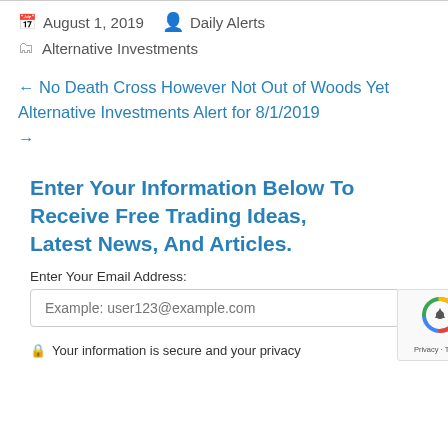August 1, 2019  Daily Alerts
Alternative Investments
← No Death Cross However Not Out of Woods Yet
Alternative Investments Alert for 8/1/2019
→
Enter Your Information Below To Receive Free Trading Ideas, Latest News, And Articles.
Enter Your Email Address:
Example: user123@example.com
Your information is secure and your privacy